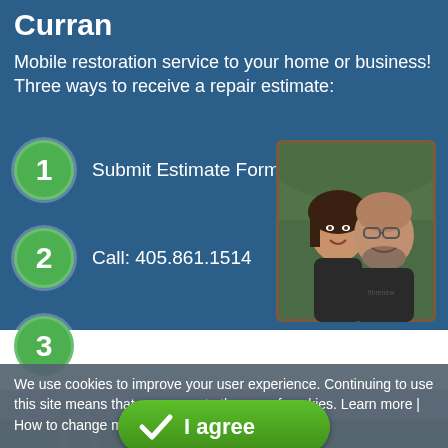Curran
Mobile restoration service to your home or business! Three ways to receive a repair estimate:
1  Submit Estimate Form Here
2  Call: 405.861.1514
[Figure (photo): Portrait photo of a man and woman smiling, both wearing dark shirts]
3  Email: nokc@fibrenew.com
We use cookies to improve your user experience. Continuing to use this site means that you agree to the use of cookies. Learn more | How to change my cookie settings
[Figure (other): Green 'I agree' button with a checkmark icon]
[Figure (photo): Outdoor scene visible at the bottom of the page]